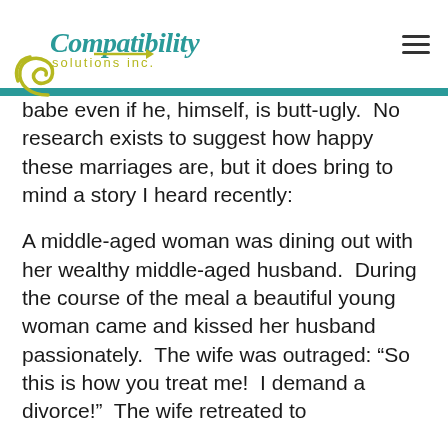Compatibility solutions inc.
babe even if he, himself, is butt-ugly.  No research exists to suggest how happy these marriages are, but it does bring to mind a story I heard recently:
A middle-aged woman was dining out with her wealthy middle-aged husband.  During the course of the meal a beautiful young woman came and kissed her husband passionately.  The wife was outraged: “So this is how you treat me!  I demand a divorce!”  The wife retreated to